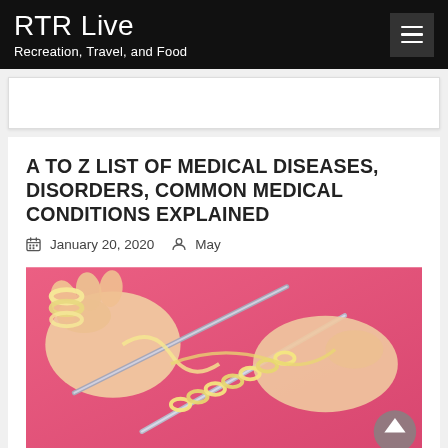RTR Live
Recreation, Travel, and Food
A TO Z LIST OF MEDICAL DISEASES, DISORDERS, COMMON MEDICAL CONDITIONS EXPLAINED
January 20, 2020   May
[Figure (photo): Close-up photo of hands holding knitting needles with yellow yarn looped around, on a pink fabric background. A scroll-to-top arrow button is visible in the bottom right corner.]